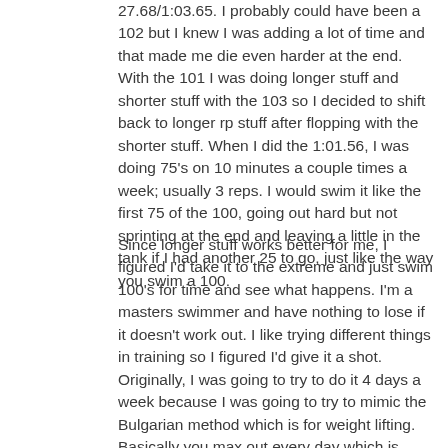27.68/1:03.65. I probably could have been a 102 but I knew I was adding a lot of time and that made me die even harder at the end. With the 101 I was doing longer stuff and shorter stuff with the 103 so I decided to shift back to longer rp stuff after flopping with the shorter stuff. When I did the 1:01.56, I was doing 75's on 10 minutes a couple times a week; usually 3 reps. I would swim it like the first 75 of the 100, going out hard but not sprinting at the end and leaving a little in the tank if I had another 25 to go, just like the way you swim a 100.
Since longer stuff works better for me, I figured I'd take it to the extreme and just swim 100's for time and see what happens. I'm a masters swimmer and have nothing to lose if it doesn't work out. I like trying different things in training so I figured I'd give it a shot. Originally, I was going to try to do it 4 days a week because I was going to try to mimic the Bulgarian method which is for weight lifting. Basically you max out every day which is incredibly difficult but eventually your body adapts and it produces really fast increases in strength after adaptation. I tried, but I couldn't do it. It was hard doing 100's on back to back days so I ended up doing it 2 times per week. I train in scm and did these form a push. I would do like a meet warm up beforehand. It was rough at first. My best scm time is 109.4 and I was going